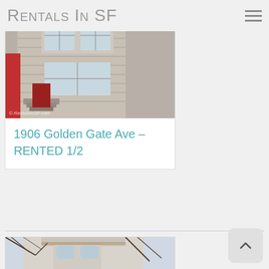Rentals In SF
[Figure (photo): Exterior photo of a San Francisco building at 1906 Golden Gate Ave, showing wooden Victorian-style facade with windows and stairs, watermarked with RentalsInSF.com]
1906 Golden Gate Ave – RENTED 1/2
[Figure (photo): Exterior photo of a Victorian San Francisco building with bay windows and ornate architectural details, tree branches in foreground]